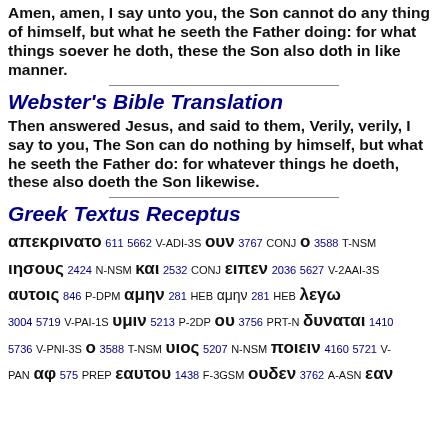Amen, amen, I say unto you, the Son cannot do any thing of himself, but what he seeth the Father doing: for what things soever he doth, these the Son also doth in like manner.
Webster's Bible Translation
Then answered Jesus, and said to them, Verily, verily, I say to you, The Son can do nothing by himself, but what he seeth the Father do: for whatever things he doeth, these also doeth the Son likewise.
Greek Textus Receptus
απεκρινατο 611 5662 V-ADI-3S ουν 3767 CONJ ο 3588 T-NSM ιησους 2424 N-NSM και 2532 CONJ ειπεν 2036 5627 V-2AAI-3S αυτοις 846 P-DPM αμην 281 HEB αμην 281 HEB λεγω 3004 5719 V-PAI-1S υμιν 5213 P-2DP ου 3756 PRT-N δυναται 1410 5736 V-PNI-3S ο 3588 T-NSM υιος 5207 N-NSM ποιειν 4160 5721 V-PAN αφ 575 PREP εαυτου 1438 F-3GSM ουδεν 3762 A-ASN εαν